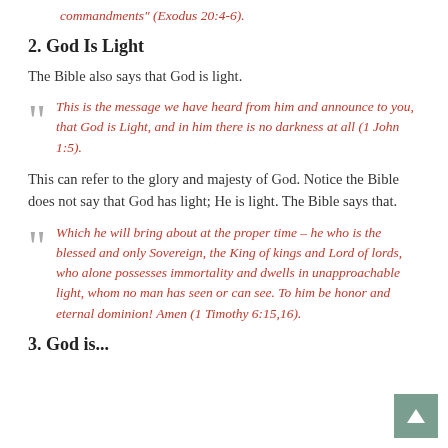commandments" (Exodus 20:4-6).
2. God Is Light
The Bible also says that God is light.
This is the message we have heard from him and announce to you, that God is Light, and in him there is no darkness at all (1 John 1:5).
This can refer to the glory and majesty of God. Notice the Bible does not say that God has light; He is light. The Bible says that.
Which he will bring about at the proper time – he who is the blessed and only Sovereign, the King of kings and Lord of lords, who alone possesses immortality and dwells in unapproachable light, whom no man has seen or can see. To him be honor and eternal dominion! Amen (1 Timothy 6:15,16).
3. God is...